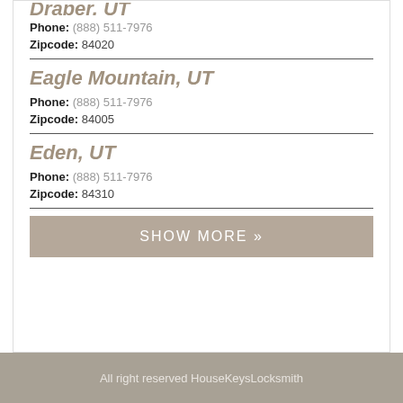Phone: (888) 511-7976
Zipcode: 84020
Eagle Mountain, UT
Phone: (888) 511-7976
Zipcode: 84005
Eden, UT
Phone: (888) 511-7976
Zipcode: 84310
SHOW MORE »
All right reserved HouseKeysLocksmith